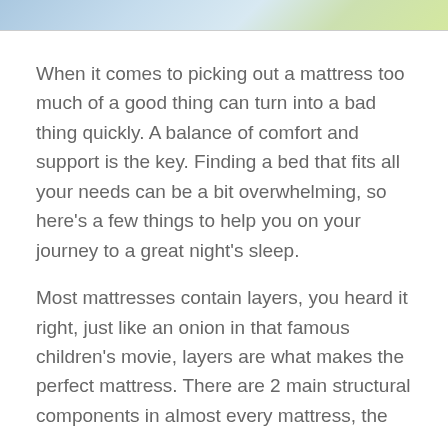[Figure (photo): Partial view of a photo at the top of the page, showing light blue and yellow-green colors, likely a child or person on a bed]
When it comes to picking out a mattress too much of a good thing can turn into a bad thing quickly. A balance of comfort and support is the key. Finding a bed that fits all your needs can be a bit overwhelming, so here’s a few things to help you on your journey to a great night’s sleep.
Most mattresses contain layers, you heard it right, just like an onion in that famous children’s movie, layers are what makes the perfect mattress. There are 2 main structural components in almost every mattress, the